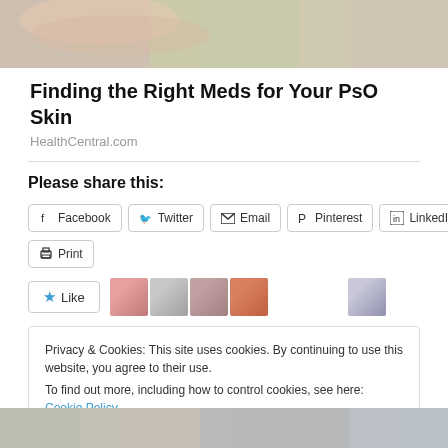[Figure (photo): Top portion of a photo showing hands, skin tones, light green background — partial image cut at top]
Finding the Right Meds for Your PsO Skin
HealthCentral.com
Please share this:
[Figure (screenshot): Row of social share buttons: Facebook, Twitter, Email, Pinterest, LinkedIn, and Print]
[Figure (screenshot): Like button with star icon and a row of user avatar photos]
Privacy & Cookies: This site uses cookies. By continuing to use this website, you agree to their use.
To find out more, including how to control cookies, see here: Cookie Policy
[Figure (photo): Bottom partial photo — colorful image cut off at bottom of page]